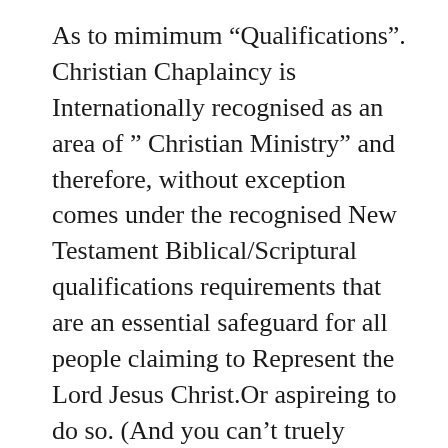As to mimimum “Qualifications”. Christian Chaplaincy is Internationally recognised as an area of ” Christian Ministry” and therefore, without exception comes under the recognised New Testament Biblical/Scriptural qualifications requirements that are an essential safeguard for all people claiming to Represent the Lord Jesus Christ.Or aspireing to do so. (And you can’t truely represent someone if you don’t Know them Personally.) That is that they must be established as a person of Good Standing, committed to and in regular attendence with a Registered/Recognised (Govt. Terms) Christian Denomination. Submitted to the Accountability